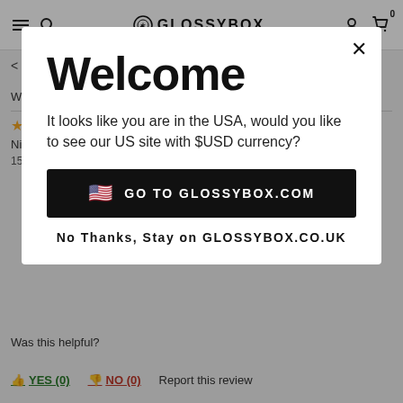GLOSSYBOX navigation bar with hamburger menu, search, logo, account, and cart icons
< Molton Brown Neon Amber Body Wash
Was this helpful?
Welcome
It looks like you are in the USA, would you like to see our US site with $USD currency?
GO TO GLOSSYBOX.COM
No Thanks, Stay on GLOSSYBOX.CO.UK
Was this helpful?
YES (0)   NO (0)   Report this review